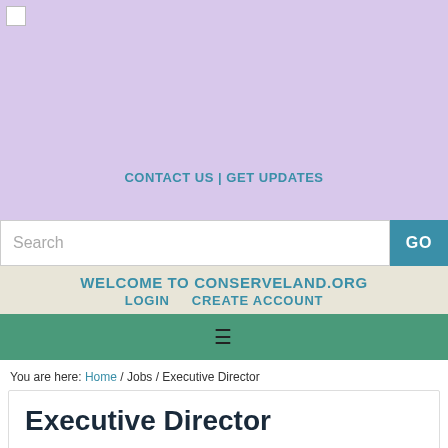CONTACT US | GET UPDATES
Search
GO
WELCOME TO CONSERVELAND.ORG
LOGIN   CREATE ACCOUNT
≡
You are here: Home / Jobs / Executive Director
Executive Director
Penns Valley Conservation Association